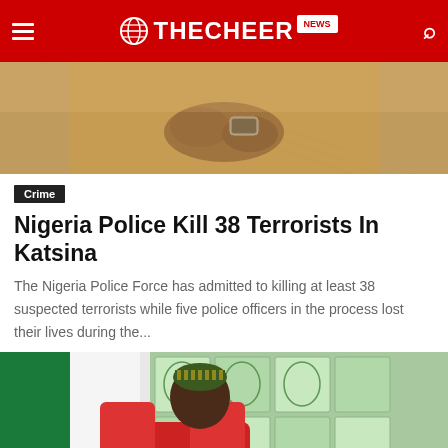THE CHEER NEWS
[Figure (photo): Close-up photo of a person in golden/yellow patterned clothing with a wristwatch, hands clasped]
Crime
Nigeria Police Kill 38 Terrorists In Katsina
The Nigeria Police Force has admitted to killing at least 38 suspected terrorists while five police officers in the process lost their lives during the...
[Figure (photo): Official seated in red chair wearing traditional Nigerian attire and colorful cap, with green/white decor in background]